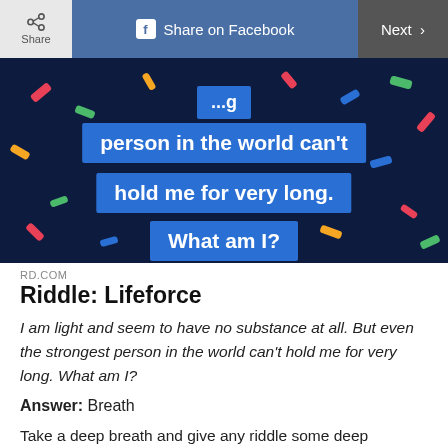Share | Share on Facebook | Next
[Figure (illustration): Dark navy background with colorful confetti capsule shapes scattered around. Blue highlighted text boxes display the riddle: '...person in the world can't hold me for very long. What am I?']
RD.COM
Riddle: Lifeforce
I am light and seem to have no substance at all. But even the strongest person in the world can't hold me for very long. What am I?
Answer: Breath
Take a deep breath and give any riddle some deep thought. The answer may just flow in. Did you